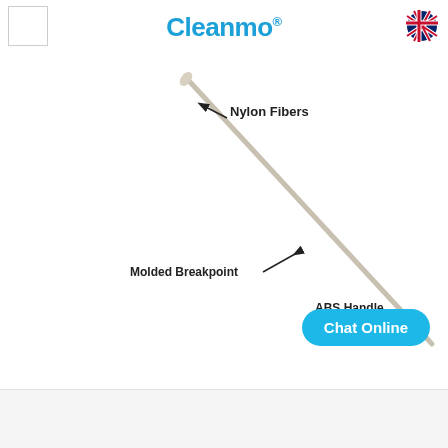[Figure (illustration): Cleanmo branded webpage header with logo box on left, 'Cleanmo®' text in blue center, UK flag icon on right]
[Figure (engineering-diagram): Labeled diagram of a flocked swab showing: Nylon Fibers at top-left tip, Molded Breakpoint in middle, and ABS Handle at bottom-right. The swab is shown diagonally from upper-left to lower-right. A 'Chat Online' button overlays the bottom-right.]